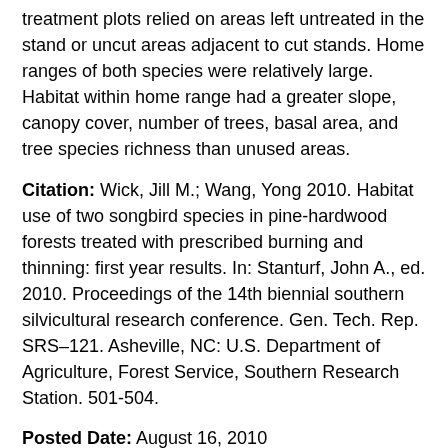treatment plots relied on areas left untreated in the stand or uncut areas adjacent to cut stands. Home ranges of both species were relatively large. Habitat within home range had a greater slope, canopy cover, number of trees, basal area, and tree species richness than unused areas.
Citation: Wick, Jill M.; Wang, Yong 2010. Habitat use of two songbird species in pine-hardwood forests treated with prescribed burning and thinning: first year results. In: Stanturf, John A., ed. 2010. Proceedings of the 14th biennial southern silvicultural research conference. Gen. Tech. Rep. SRS–121. Asheville, NC: U.S. Department of Agriculture, Forest Service, Southern Research Station. 501-504.
Posted Date: August 16, 2010
Modified Date: October 19, 2010